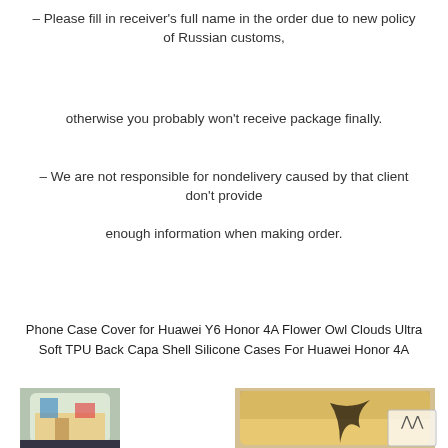– Please fill in receiver's full name in the order due to new policy of Russian customs,
otherwise you probably won't receive package finally.
– We are not responsible for nondelivery caused by that client don't provide
enough information when making order.
Phone Case Cover for Huawei Y6 Honor 4A Flower Owl Clouds Ultra Soft TPU Back Capa Shell Silicone Cases For Huawei Honor 4A
[Figure (photo): Two phone cases shown side by side and a partial third case below left. Left case shows a colorful street scene, center/right case shows palm trees at sunset. A scroll-up button is visible bottom right.]